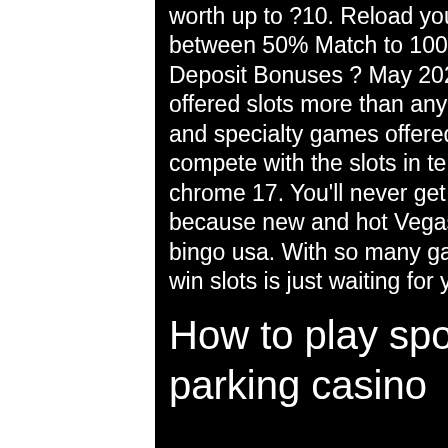worth up to ?10. Reload your account at Gossip Slots and enjoy between 50% Match to 100% Matc. Latest Gossip Slots Casino No Deposit Bonuses ? May 2021., dirt bike poker run colorado. Players are offered slots more than any other casino games. The video poker, table and specialty games offered are of reasonable variety but cannot compete with the slots in terms of number, american racing casino chrome 17. You'll never get bored with these free slot machine games, because new and hot Vegas slot machines are added ALL, no deposit bingo usa. With so many games, it feels like a huge casino filled with big win slots is just waiting for you.
How to play spooky, belwag ag bern parking casino